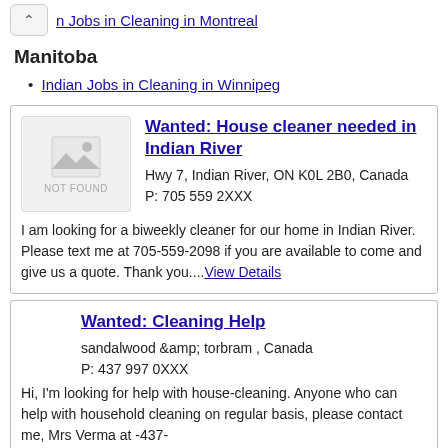n Jobs in Cleaning in Montreal
Manitoba
Indian Jobs in Cleaning in Winnipeg
Wanted: House cleaner needed in Indian River
Hwy 7, Indian River, ON K0L 2B0, Canada
P: 705 559 2XXX
I am looking for a biweekly cleaner for our home in Indian River. Please text me at 705-559-2098 if you are available to come and give us a quote. Thank you....View Details
Wanted: Cleaning Help
sandalwood &amp; torbram , Canada
P: 437 997 0XXX
Hi, I'm looking for help with house-cleaning. Anyone who can help with household cleaning on regular basis, please contact me, Mrs Verma at -437-